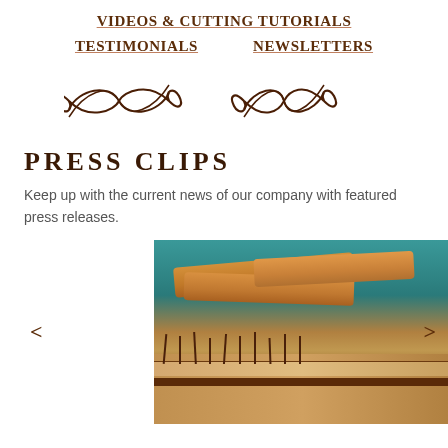VIDEOS & CUTTING TUTORIALS
TESTIMONIALS    NEWSLETTERS
[Figure (illustration): Decorative ornamental divider with swirl/scroll flourishes in brown]
PRESS CLIPS
Keep up with the current news of our company with featured press releases.
[Figure (photo): Photo of churro pastries stacked on a layered cake with chocolate drizzle, on teal background]